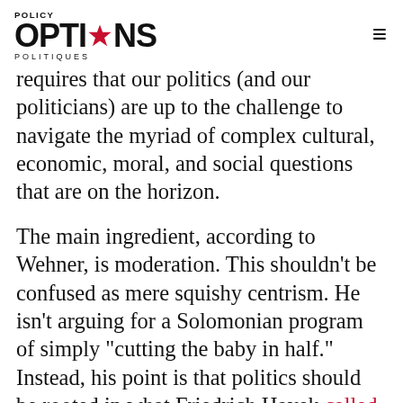POLICY OPTIONS POLITIQUES
requires that our politics (and our politicians) are up to the challenge to navigate the myriad of complex cultural, economic, moral, and social questions that are on the horizon.
The main ingredient, according to Wehner, is moderation. This shouldn’t be confused as mere squishy centrism. He isn’t arguing for a Solomonian program of simply “cutting the baby in half.” Instead, his point is that politics should be rooted in what Friedrich Hayek called „pistemic humility.” As Wehner writes: